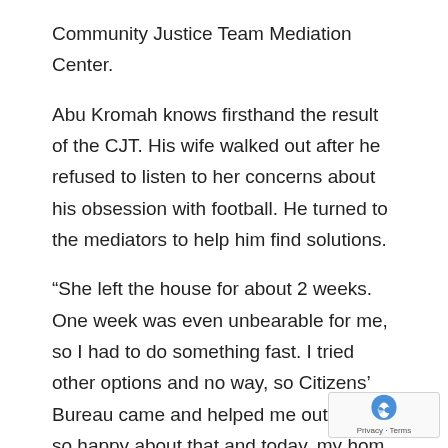Community Justice Team Mediation Center.
Abu Kromah knows firsthand the result of the CJT. His wife walked out after he refused to listen to her concerns about his obsession with football. He turned to the mediators to help him find solutions.
“She left the house for about 2 weeks. One week was even unbearable for me, so I had to do something fast. I tried other options and no way, so Citizens’ Bureau came and helped me out. I am so happy about that and today, my hom going perfect.